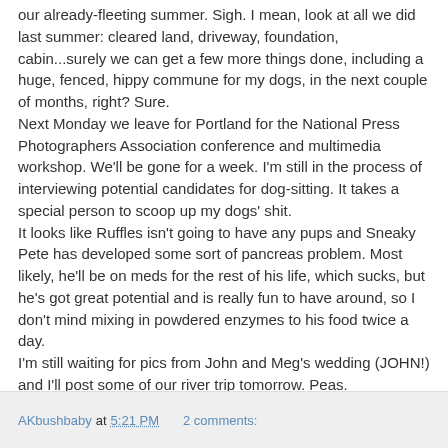our already-fleeting summer. Sigh. I mean, look at all we did last summer: cleared land, driveway, foundation, cabin...surely we can get a few more things done, including a huge, fenced, hippy commune for my dogs, in the next couple of months, right? Sure.
Next Monday we leave for Portland for the National Press Photographers Association conference and multimedia workshop. We'll be gone for a week. I'm still in the process of interviewing potential candidates for dog-sitting. It takes a special person to scoop up my dogs' shit.
It looks like Ruffles isn't going to have any pups and Sneaky Pete has developed some sort of pancreas problem. Most likely, he'll be on meds for the rest of his life, which sucks, but he's got great potential and is really fun to have around, so I don't mind mixing in powdered enzymes to his food twice a day.
I'm still waiting for pics from John and Meg's wedding (JOHN!) and I'll post some of our river trip tomorrow. Peas.
AKbushbaby at 5:21 PM   2 comments: